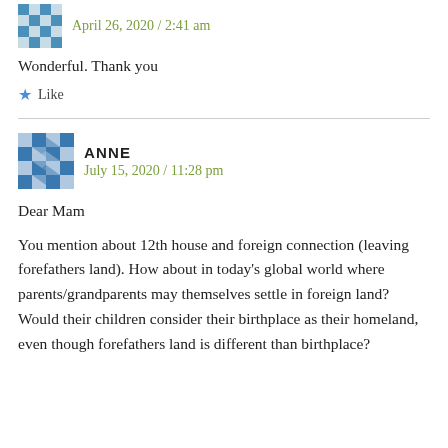April 26, 2020 / 2:41 am
Wonderful. Thank you
★ Like
ANNE
July 15, 2020 / 11:28 pm
Dear Mam
You mention about 12th house and foreign connection (leaving forefathers land). How about in today's global world where parents/grandparents may themselves settle in foreign land? Would their children consider their birthplace as their homeland, even though forefathers land is different than birthplace?